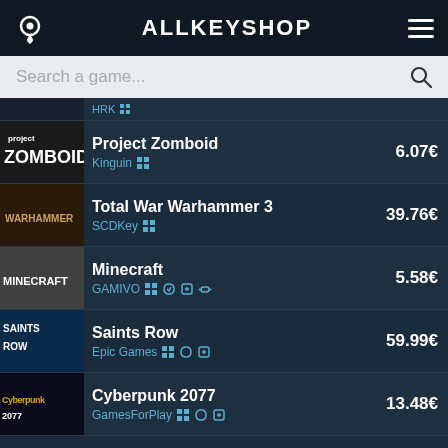ALLKEYSHOP
Search a game...
Project Zomboid - Kinguin - 6.07€
Total War Warhammer 3 - SCDKey - 39.76€
Minecraft - GAMIVO - 5.58€
Saints Row - Epic Games - 59.99€
Cyberpunk 2077 - GamesForPlay - 13.48€
Raft - HRK - 17.08€
Sea of Thieves - HRK
Escape from Tarkov